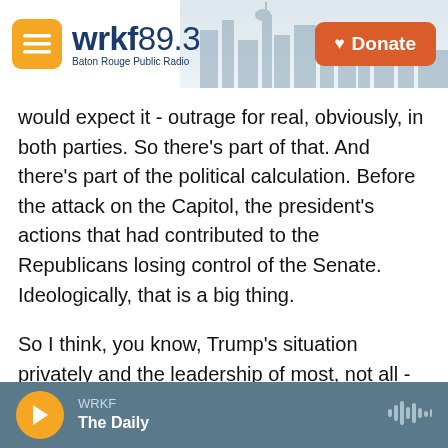wrkf89.3 Baton Rouge Public Radio | Donate
would expect it - outrage for real, obviously, in both parties. So there's part of that. And there's part of the political calculation. Before the attack on the Capitol, the president's actions that had contributed to the Republicans losing control of the Senate. Ideologically, that is a big thing.
So I think, you know, Trump's situation privately and the leadership of most, not all - there's a faction that's with him till the end - is kind of like the old Hollywood joke about the actor who was so hated that when the story got out that 10,000 people attended his funeral, somebody said, that's
WRKF | The Daily